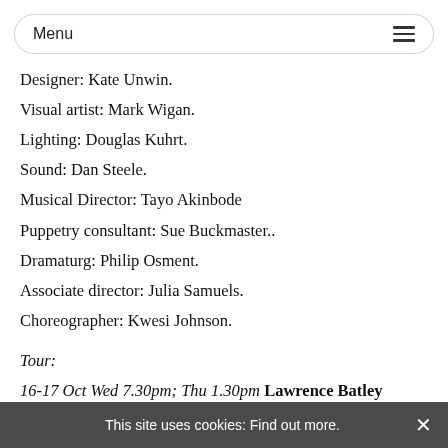Menu
Designer: Kate Unwin.
Visual artist: Mark Wigan.
Lighting: Douglas Kuhrt.
Sound: Dan Steele.
Musical Director: Tayo Akinbode
Puppetry consultant: Sue Buckmaster..
Dramaturg: Philip Osment.
Associate director: Julia Samuels.
Choreographer: Kwesi Johnson.
Tour:
16-17 Oct Wed 7.30pm; Thu 1.30pm Lawrence Batley
This site uses cookies: Find out more. ×